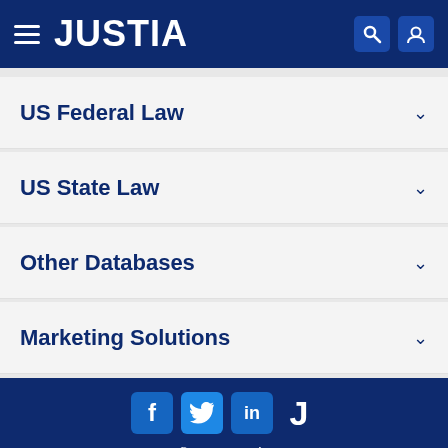JUSTIA
US Federal Law
US State Law
Other Databases
Marketing Solutions
[Figure (other): Social media icons: Facebook, Twitter, LinkedIn, Justia J]
© 2022 Justia
Justia Connect
Legal Portal